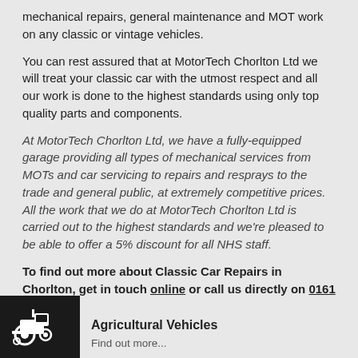mechanical repairs, general maintenance and MOT work on any classic or vintage vehicles.
You can rest assured that at MotorTech Chorlton Ltd we will treat your classic car with the utmost respect and all our work is done to the highest standards using only top quality parts and components.
At MotorTech Chorlton Ltd, we have a fully-equipped garage providing all types of mechanical services from MOTs and car servicing to repairs and resprays to the trade and general public, at extremely competitive prices. All the work that we do at MotorTech Chorlton Ltd is carried out to the highest standards and we're pleased to be able to offer a 5% discount for all NHS staff.
To find out more about Classic Car Repairs in Chorlton, get in touch online or call us directly on 0161 862 9007
[Figure (illustration): Black square icon with a tractor/agricultural vehicle silhouette]
Agricultural Vehicles
Find out more...